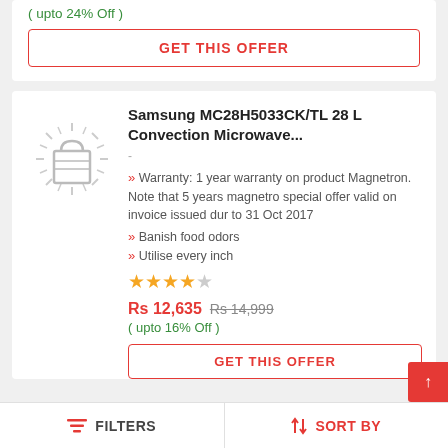Rs 8,500  Rs 11,200
( upto 24% Off )
GET THIS OFFER
Samsung MC28H5033CK/TL 28 L Convection Microwave...
[Figure (illustration): Shopping bag icon with radiating lines]
Warranty: 1 year warranty on product Magnetron. Note that 5 years magnetro special offer valid on invoice issued dur to 31 Oct 2017
Banish food odors
Utilise every inch
Rs 12,635  Rs 14,999
( upto 16% Off )
GET THIS OFFER
FILTERS   SORT BY